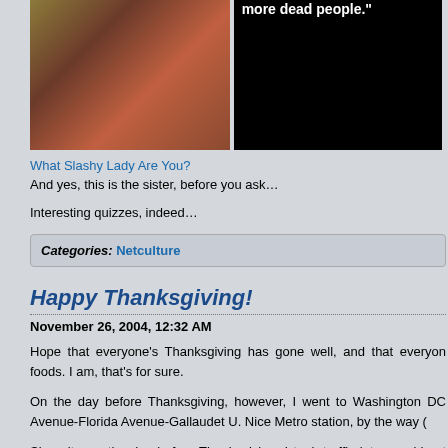[Figure (photo): Left half shows a figure in red costume with golden/metallic elements; right half is black background with white bold text reading 'more dead people.']
What Slashy Lady Are You?
And yes, this is the sister, before you ask…
Interesting quizzes, indeed…
Categories: Netculture
Happy Thanksgiving!
November 26, 2004, 12:32 AM
Hope that everyone's Thanksgiving has gone well, and that everyone enjoyed their foods. I am, that's for sure.
On the day before Thanksgiving, however, I went to Washington DC… Avenue-Florida Avenue-Gallaudet U. Nice Metro station, by the way (
Since it was the day before Thanksgiving, I took traffic into consideration… Staunton to Strasburg, was heavier than usual, but not bad. Mind y… leaving more than an hour earlier than usual. On I-66, traffic got thicke… hit two traffic bottlenecks around Exit 43 going eastbound, before I-66… got heavy starting in Fauquier County, which is what I consider the la… in other words, Prince William County in this case. Then I hit the l…